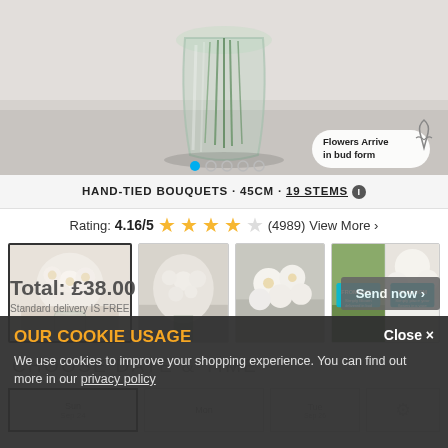[Figure (photo): Hero image showing white flowers in a glass vase on a white surface, with a 'Flowers Arrive in bud form' badge and carousel navigation dots]
HAND-TIED BOUQUETS · 45CM · 19 STEMS ℹ
Rating: 4.16/5 ★★★★☆ (4989) View More ›
[Figure (photo): Four thumbnail images of white flower bouquets, the first selected with a border]
CHOOSE DATE & TIME
Tue Sep 26
Total: £38.00
Standard delivery IS FREE
Send now ›
OUR COOKIE USAGE
We use cookies to improve your shopping experience. You can find out more in our privacy policy
Close ×